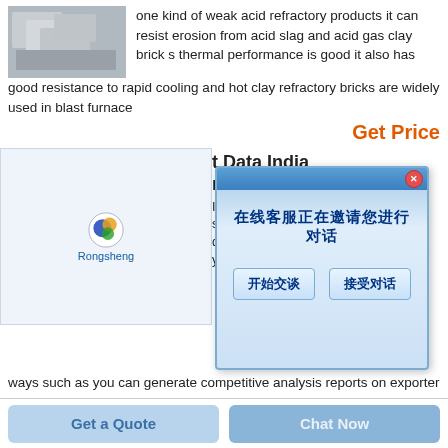[Figure (photo): Photo of gray refractory bricks stacked together]
one kind of weak acid refractory products it can resist erosion from acid slag and acid gas clay brick s thermal performance is good it also has good resistance to rapid cooling and hot clay refractory bricks are widely used in blast furnace
Get Price
[Figure (screenshot): Screenshot of Rongsheng logo/banner with blue gradient background]
t Data India ms India with hs code s provides the d indian export you in many ways such as you can generate competitive analysis reports on exporter port supplier and importer of ladle furnace we collect ladle furnace export data from more than 190 indian
[Figure (screenshot): Chinese chat popup dialog box with message '在线客服正在邀请您进行对话' and two buttons '开始交谈' and '接受对话']
Get Price
Get a Quote
Chat Now